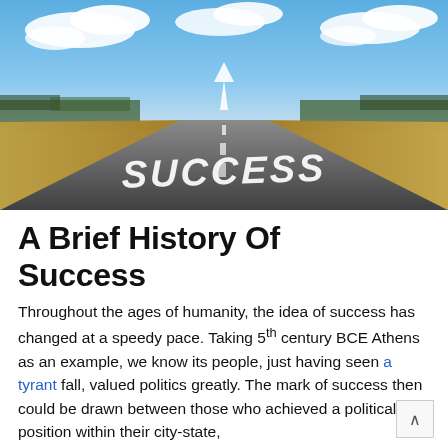[Figure (photo): Photograph of a long straight road stretching to the horizon under a blue sky with clouds and dry grass fields on either side. The word SUCCESS is painted in large white stencil letters on the road surface, with a white arrow above it pointing forward.]
A Brief History Of Success
Throughout the ages of humanity, the idea of success has changed at a speedy pace. Taking 5th century BCE Athens as an example, we know its people, just having seen a tyrant fall, valued politics greatly. The mark of success then could be drawn between those who achieved a political position within their city-state,